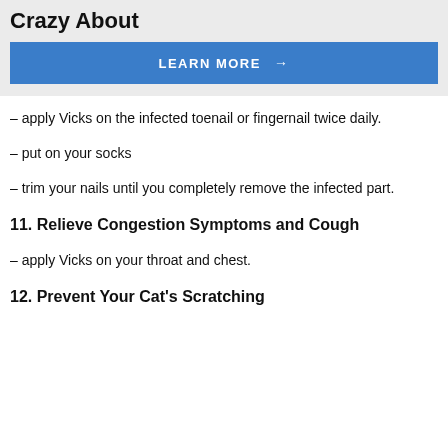Crazy About
[Figure (other): Blue 'LEARN MORE →' button]
– apply Vicks on the infected toenail or fingernail twice daily.
– put on your socks
– trim your nails until you completely remove the infected part.
11. Relieve Congestion Symptoms and Cough
– apply Vicks on your throat and chest.
12. Prevent Your Cat's Scratching